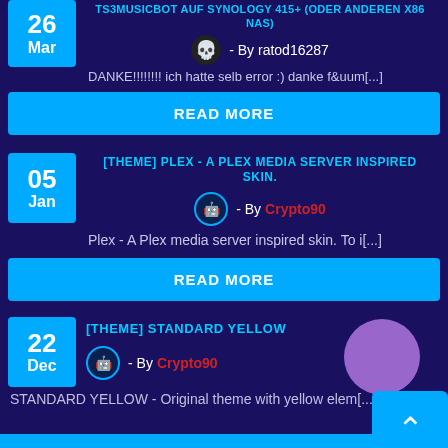TS3MUSICBOT AUF SYNOLOGY 415+ (ODER ANDEREN X86 NAS)
- By ratod16287
DANKE!!!!!!!! ich hatte selb error :) danke f&uum[...]
READ MORE
[THEME] PLEX - A PLEX MEDIA SERVER INSPIRED SKIN.
- By Crypto90
Plex - A Plex media server inspired skin. To i[...]
READ MORE
[THEME] STANDARD YELLOW
- By Crypto90
STANDARD YELLOW - Original theme with yellow elem[...]